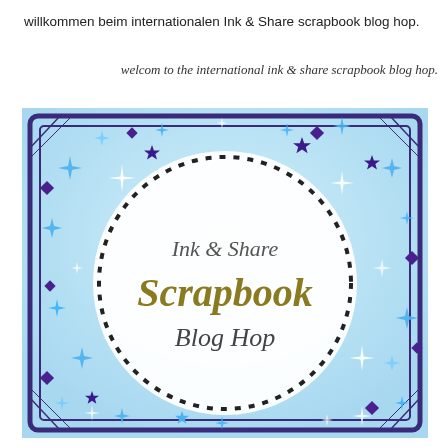willkommen beim internationalen Ink & Share scrapbook blog hop.
welcom to the international ink & share scrapbook blog hop.
[Figure (illustration): Ink & Share Scrapbook Blog Hop logo: light blue background with scattered blue, purple, and white sparkle/star decorations, a dark navy ornate rectangular border, and a large white circle with dotted border containing the text 'Ink & Share Scrapbook Blog Hop' in decorative serif fonts (gray and gold/olive).]